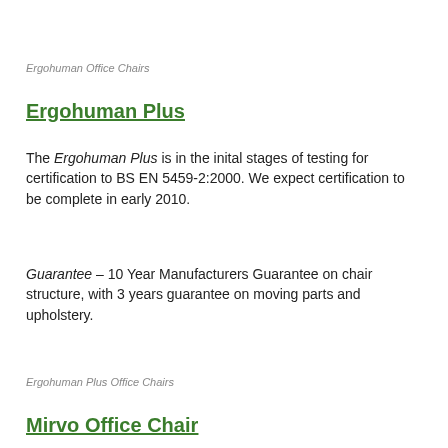Ergohuman Office Chairs
Ergohuman Plus
The Ergohuman Plus is in the inital stages of testing for certification to BS EN 5459-2:2000. We expect certification to be complete in early 2010.
Guarantee – 10 Year Manufacturers Guarantee on chair structure, with 3 years guarantee on moving parts and upholstery.
Ergohuman Plus Office Chairs
Mirvo Office Chair